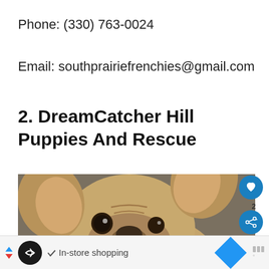Phone: (330) 763-0024
Email: southprairiefrenchies@gmail.com
2. DreamCatcher Hill Puppies And Rescue
[Figure (photo): Close-up photo of a French Bulldog looking up at the camera with large ears and wide eyes, with social share overlay buttons and a 'What's Next' panel showing 'French Bulldog...']
In-store shopping